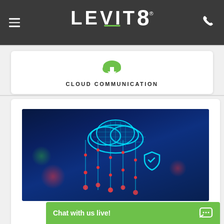LEVIT8 - Navigation header with hamburger menu, logo, and phone icon
CLOUD COMMUNICATION
[Figure (photo): Digital cloud computing concept showing a glowing teal 3D cloud with data streams falling down like rain, security shield icon, on a dark blue background]
Chat with us live!